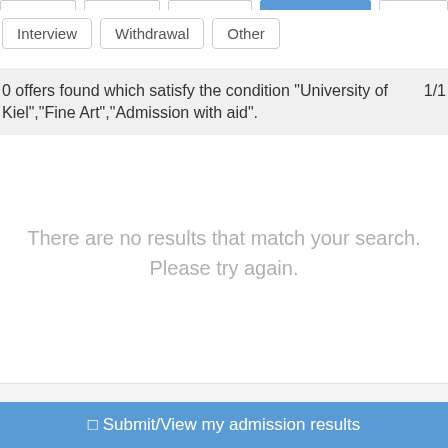Interview
Withdrawal
Other
0 offers found which satisfy the condition "University of Kiel","Fine Art","Admission with aid".  1/1
There are no results that match your search.
Please try again.
Submit/View my admission results